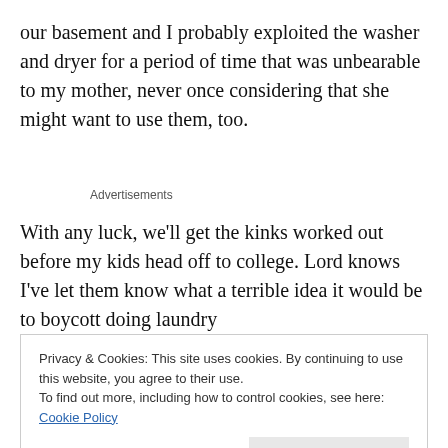our basement and I probably exploited the washer and dryer for a period of time that was unbearable to my mother, never once considering that she might want to use them, too.
Advertisements
With any luck, we'll get the kinks worked out before my kids head off to college. Lord knows I've let them know what a terrible idea it would be to boycott doing laundry
Privacy & Cookies: This site uses cookies. By continuing to use this website, you agree to their use.
To find out more, including how to control cookies, see here: Cookie Policy
Close and accept
at www.facebook.com/NotesfromPlanetMom.